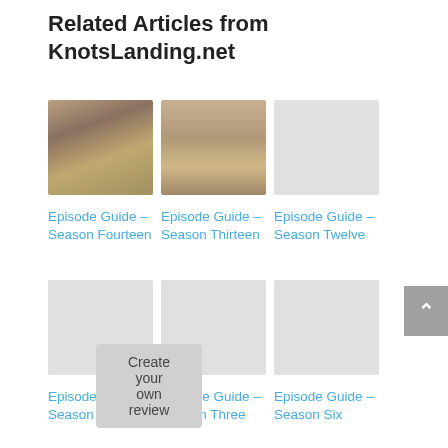Related Articles from KnotsLanding.net
[Figure (photo): Thumbnail photo of a woman with curly blonde hair]
[Figure (photo): Thumbnail photo of a person's face from below]
[Figure (photo): Empty/placeholder thumbnail for Season Twelve]
Episode Guide – Season Fourteen
Episode Guide – Season Thirteen
Episode Guide – Season Twelve
[Figure (photo): Empty/placeholder thumbnail for Season Five]
[Figure (photo): Empty/placeholder thumbnail for Season Three]
[Figure (photo): Empty/placeholder thumbnail for Season Six]
Episode Guide – Season Five
Episode Guide – Season Three
Episode Guide – Season Six
Create your own review